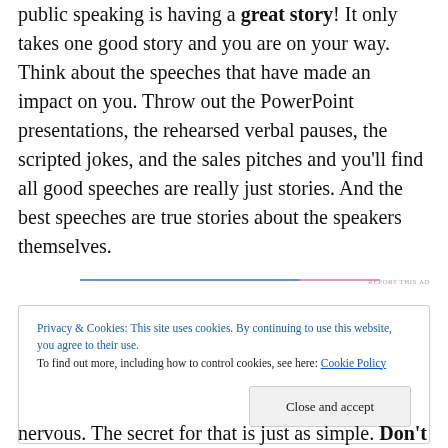public speaking is having a great story! It only takes one good story and you are on your way. Think about the speeches that have made an impact on you. Throw out the PowerPoint presentations, the rehearsed verbal pauses, the scripted jokes, and the sales pitches and you'll find all good speeches are really just stories. And the best speeches are true stories about the speakers themselves.
[Figure (other): Ad divider line (blue and pink gradient rule) with REPORT THIS AD label]
Privacy & Cookies: This site uses cookies. By continuing to use this website, you agree to their use.
To find out more, including how to control cookies, see here: Cookie Policy
nervous. The secret for that is just as simple. Don't